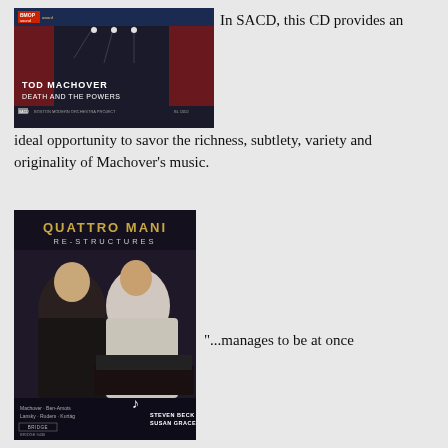[Figure (photo): Album cover: Tod Machover - Death and the Powers, Boston Modern Orchestra Project, BMOP Sound]
In SACD, this CD provides an ideal opportunity to savor the richness, subtlety, variety and originality of Machover's music.
[Figure (photo): Album cover: Quattro Mani - Re-Structures, Steven Beck and Susan Grace, Bridge Records. Features Machover, Ben-Amots, Lansky, Ruders, Kurtag]
"...manages to be at once stylistically provocative and harmonically and harmonically accessible"